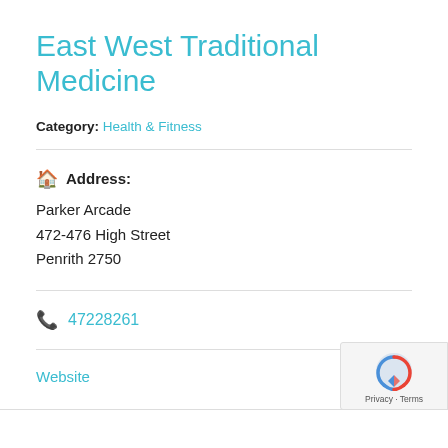East West Traditional Medicine
Category: Health & Fitness
Address: Parker Arcade 472-476 High Street Penrith 2750
47228261
Website